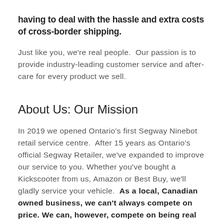having to deal with the hassle and extra costs of cross-border shipping.
Just like you, we're real people. Our passion is to provide industry-leading customer service and after-care for every product we sell.
About Us: Our Mission
In 2019 we opened Ontario's first Segway Ninebot retail service centre. After 15 years as Ontario's official Segway Retailer, we've expanded to improve our service to you. Whether you've bought a Kickscooter from us, Amazon or Best Buy, we'll gladly service your vehicle. As a local, Canadian owned business, we can't always compete on price. We can, however, compete on being real people